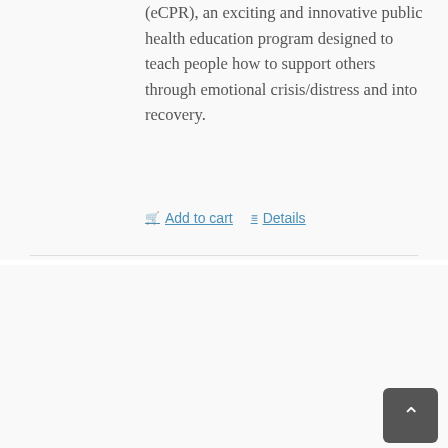(eCPR), an exciting and innovative public health education program designed to teach people how to support others through emotional crisis/distress and into recovery.
Add to cart   Details
[Figure (illustration): Book cover of 'Anatomy of an Epidemic' by Robert Whitaker with a red background and a diagram of a human head]
Anatomy of an Epidemic: Magic Bullets, Psychiatric Drugs, and the Astonishing Rise of Mental Illness
$15.00